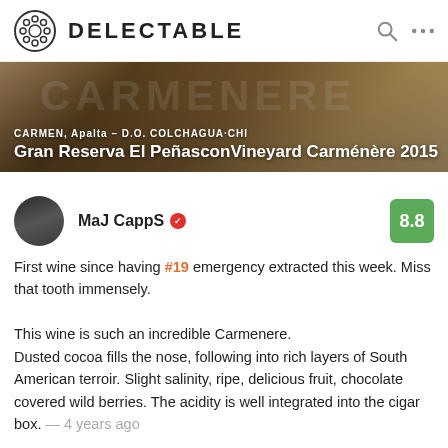DELECTABLE
[Figure (photo): Wine bottle label banner showing Carmen Gran Reserva El PeñasconVineyard Carménère 2015, Apalta - D.O. Colchagua, Chile]
CARMEN, Apalta - D.O. COLCHAGUA·CHI
Gran Reserva El PeñasconVineyard Carménère 2015
MaJ CappS  8.8
First wine since having #19 emergency extracted this week. Miss that tooth immensely.

This wine is such an incredible Carmenere. Dusted cocoa fills the nose, following into rich layers of South American terroir. Slight salinity, ripe, delicious fruit, chocolate covered wild berries. The acidity is well integrated into the cigar box. — 4 years ago
Trixie and Riddley liked this
Trixie
Be well! Tooth pain isn't fun! Hope you enjoyed your wine